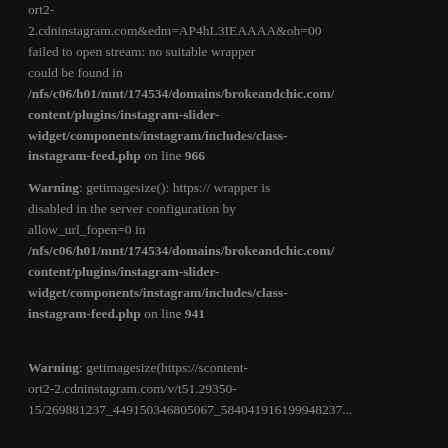ort2-2.cdninstagram.com&edm=AP4hL3IEAAAA&oh=00 failed to open stream: no suitable wrapper could be found in /nfs/c06/h01/mnt/174534/domains/brokeandchic.com/content/plugins/instagram-slider-widget/components/instagram/includes/class-instagram-feed.php on line 966
Warning: getimagesize(): https:// wrapper is disabled in the server configuration by allow_url_fopen=0 in /nfs/c06/h01/mnt/174534/domains/brokeandchic.com/content/plugins/instagram-slider-widget/components/instagram/includes/class-instagram-feed.php on line 941
Warning: getimagesize(https://scontent-ort2-2.cdninstagram.com/v/t51.29350-15/269881237_449150346805067_584041916199948237...